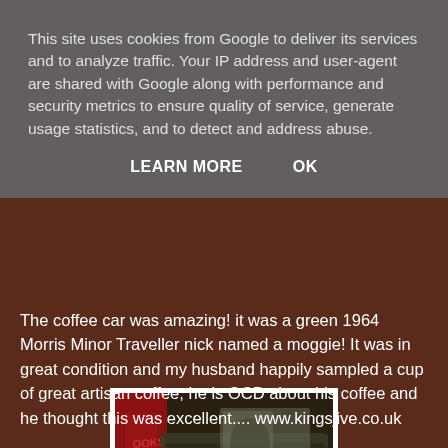This site uses cookies from Google to deliver its services and to analyze traffic. Your IP address and user-agent are shared with Google along with performance and security metrics to ensure quality of service, generate usage statistics, and to detect and address abuse.
LEARN MORE   OK
[Figure (photo): A dark-coloured vintage car, partially visible, with black wheels, parked near a red display stand. The image is low-light and somewhat blurry.]
The coffee car was amazing! it was a green 1964 Morris Minor Traveller nick named  a moggie!  It was in great condition and my husband happily sampled a cup of great artisan coffee, he is OCD about his coffee and he thought this was excellent.... www.kingsjive.co.uk